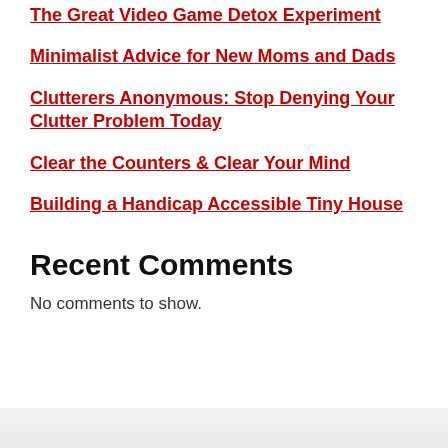The Great Video Game Detox Experiment
Minimalist Advice for New Moms and Dads
Clutterers Anonymous: Stop Denying Your Clutter Problem Today
Clear the Counters & Clear Your Mind
Building a Handicap Accessible Tiny House
Recent Comments
No comments to show.